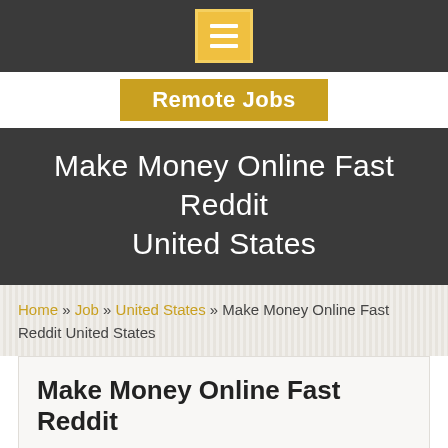Remote Jobs
Make Money Online Fast Reddit United States
Home » Job » United States » Make Money Online Fast Reddit United States
Make Money Online Fast Reddit
JobTorpedo is going to look for paid survey participants to help shape popular brands future services by completing market research surveys.